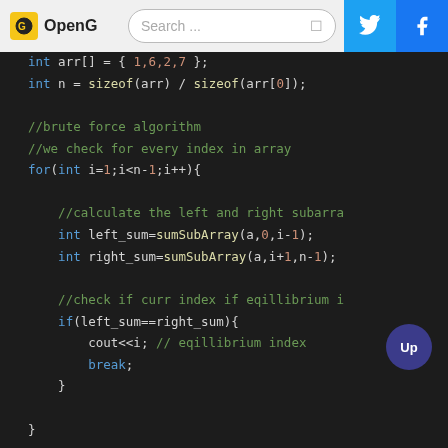OpenG | Search ... | Twitter | Facebook
[Figure (screenshot): C++ code snippet showing brute force equilibrium index algorithm with syntax highlighting on dark background. Code includes array initialization, sizeof calculation, for loop, subarray sum calls, and equilibrium check with cout and break.]